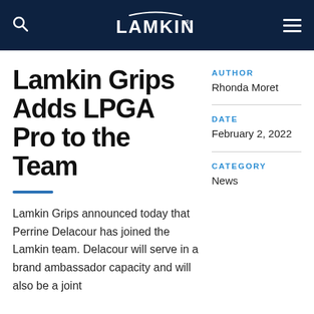LAMKIN
Lamkin Grips Adds LPGA Pro to the Team
Lamkin Grips announced today that Perrine Delacour has joined the Lamkin team. Delacour will serve in a brand ambassador capacity and will also be a joint
AUTHOR
Rhonda Moret
DATE
February 2, 2022
CATEGORY
News